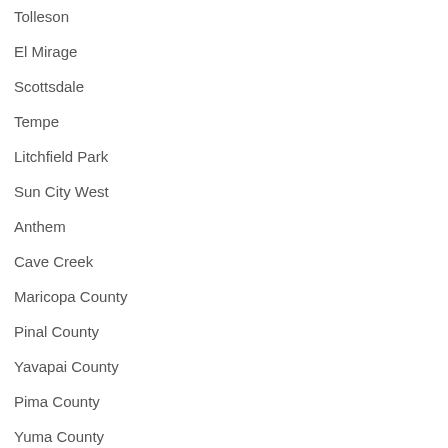Tolleson
El Mirage
Scottsdale
Tempe
Litchfield Park
Sun City West
Anthem
Cave Creek
Maricopa County
Pinal County
Yavapai County
Pima County
Yuma County